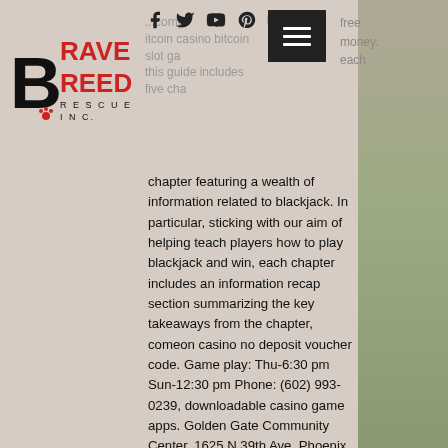[Figure (logo): Brave Breed Rescue Inc. logo with large black B and red BRAVE BREED text]
Social media icons: Facebook, Twitter, YouTube, Pinterest, Instagram. Hamburger menu button.
chapter featuring a wealth of information related to blackjack. In particular, sticking with our aim of helping teach players how to play blackjack and win, each chapter includes an information recap section summarizing the key takeaways from the chapter, comeon casino no deposit voucher code. Game play: Thu-6:30 pm Sun-12:30 pm Phone: (602) 993-0239, downloadable casino game apps. Golden Gate Community Center, 1625 N 39th Ave, Phoenix, Arizona 85009-2149, USA. It's not unknown for some casinos to go from 2 stars to 5 stars in our rankings if they make significant improvements to their websites. Of course some also go in the other direction, where to buy quality slot machine. Learn how to play BlackJack with the help of this tutorial,